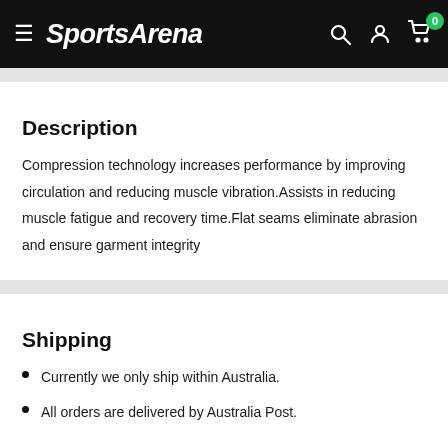SportsArena
Description
Compression technology increases performance by improving circulation and reducing muscle vibration.Assists in reducing muscle fatigue and recovery time.Flat seams eliminate abrasion and ensure garment integrity
Shipping
Currently we only ship within Australia.
All orders are delivered by Australia Post.